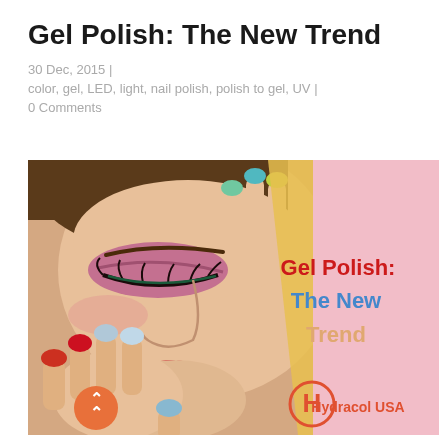Gel Polish: The New Trend
30 Dec, 2015 |
color, gel, LED, light, nail polish, polish to gel, UV |
0 Comments
[Figure (photo): Woman with colorful gel nails posing with hands near face, with text overlay 'Gel Polish: The New Trend' and Hydracol USA logo on pink background]